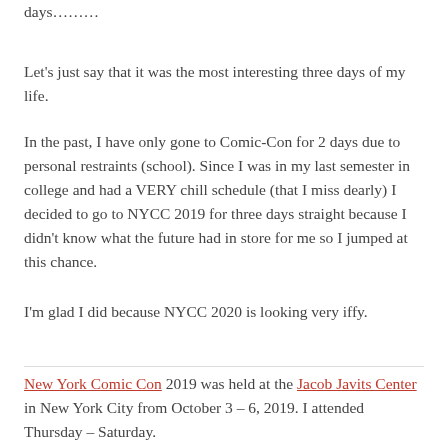days………
Let's just say that it was the most interesting three days of my life.
In the past, I have only gone to Comic-Con for 2 days due to personal restraints (school). Since I was in my last semester in college and had a VERY chill schedule (that I miss dearly) I decided to go to NYCC 2019 for three days straight because I didn't know what the future had in store for me so I jumped at this chance.
I'm glad I did because NYCC 2020 is looking very iffy.
New York Comic Con 2019 was held at the Jacob Javits Center in New York City from October 3 – 6, 2019. I attended Thursday – Saturday.